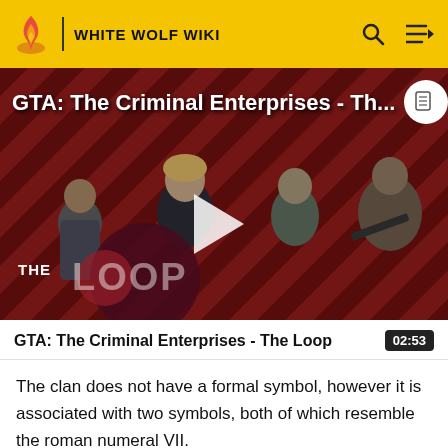WHITE WOLF WIKI
[Figure (screenshot): Video thumbnail for GTA: The Criminal Enterprises - The Loop showing game characters on a red diagonal striped background with The Loop logo overlay and a play button in the center]
GTA: The Criminal Enterprises - The Loop 02:53
The clan does not have a formal symbol, however it is associated with two symbols, both of which resemble the roman numeral VII.